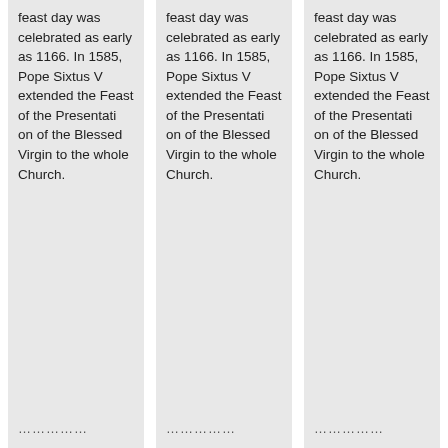feast day was celebrated as early as 1166. In 1585, Pope Sixtus V extended the Feast of the Presentation of the Blessed Virgin to the whole Church.
feast day was celebrated as early as 1166. In 1585, Pope Sixtus V extended the Feast of the Presentation of the Blessed Virgin to the whole Church.
feast day was celebrated as early as 1166. In 1585, Pope Sixtus V extended the Feast of the Presentation of the Blessed Virgin to the whole Church.